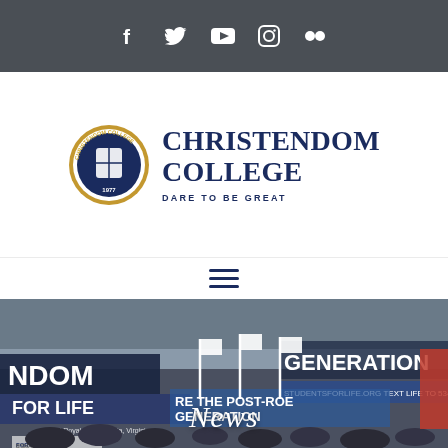Social media icons: Facebook, Twitter, YouTube, Instagram, Flickr
[Figure (logo): Christendom College seal logo with circular crest on left, text 'CHRISTENDOM COLLEGE' in navy serif font, tagline 'DARE TO BE GREAT' below]
[Figure (other): Hamburger menu navigation icon, three horizontal navy lines]
[Figure (photo): Crowd of students marching at a pro-life rally, holding white flags and banners reading 'FOR LIFE', 'GENERATION', 'ARE THE POST-ROE GENERATION', 'STUDENTSFORLIFE.ORG TEXT LIFE TO 53445', outdoor winter scene]
News